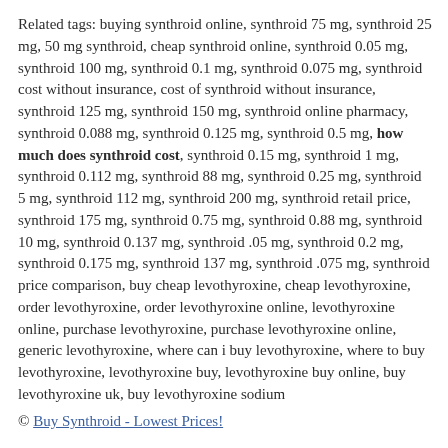Related tags: buying synthroid online, synthroid 75 mg, synthroid 25 mg, 50 mg synthroid, cheap synthroid online, synthroid 0.05 mg, synthroid 100 mg, synthroid 0.1 mg, synthroid 0.075 mg, synthroid cost without insurance, cost of synthroid without insurance, synthroid 125 mg, synthroid 150 mg, synthroid online pharmacy, synthroid 0.088 mg, synthroid 0.125 mg, synthroid 0.5 mg, how much does synthroid cost, synthroid 0.15 mg, synthroid 1 mg, synthroid 0.112 mg, synthroid 88 mg, synthroid 0.25 mg, synthroid 5 mg, synthroid 112 mg, synthroid 200 mg, synthroid retail price, synthroid 175 mg, synthroid 0.75 mg, synthroid 0.88 mg, synthroid 10 mg, synthroid 0.137 mg, synthroid .05 mg, synthroid 0.2 mg, synthroid 0.175 mg, synthroid 137 mg, synthroid .075 mg, synthroid price comparison, buy cheap levothyroxine, cheap levothyroxine, order levothyroxine, order levothyroxine online, levothyroxine online, purchase levothyroxine, purchase levothyroxine online, generic levothyroxine, where can i buy levothyroxine, where to buy levothyroxine, levothyroxine buy, levothyroxine buy online, buy levothyroxine uk, buy levothyroxine sodium
© Buy Synthroid - Lowest Prices!